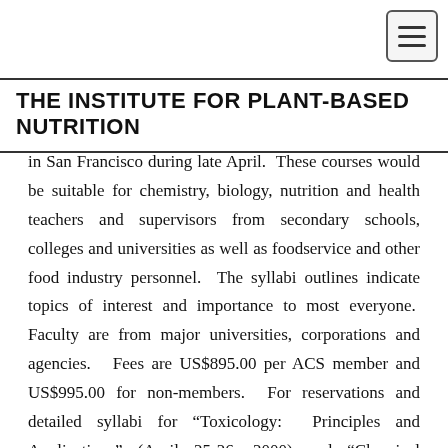THE INSTITUTE FOR PLANT-BASED NUTRITION
in San Francisco during late April. These courses would be suitable for chemistry, biology, nutrition and health teachers and supervisors from secondary schools, colleges and universities as well as foodservice and other food industry personnel. The syllabi outlines indicate topics of interest and importance to most everyone. Faculty are from major universities, corporations and agencies. Fees are US$895.00 per ACS member and US$995.00 for non-members. For reservations and detailed syllabi for “Toxicology: Principles and Applications” (April 25-26, 2000) and “Chemical Mechanisms in Toxicology” (April 27-28, 2000) contact: American Chemical